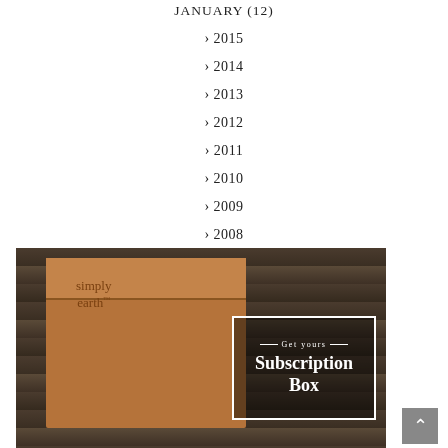JANUARY (12)
> 2015
> 2014
> 2013
> 2012
> 2011
> 2010
> 2009
> 2008
[Figure (photo): Simply Earth subscription box product photo showing an open brown cardboard box with essential oil bottles, spray bottles, and cards on a dark wooden surface. An overlay reads 'Get yours Subscription Box'.]